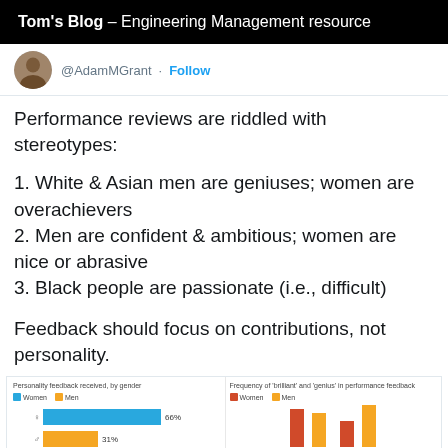Tom's Blog – Engineering Management resource
@AdamMGrant · Follow
Performance reviews are riddled with stereotypes:
1. White & Asian men are geniuses; women are overachievers
2. Men are confident & ambitious; women are nice or abrasive
3. Black people are passionate (i.e., difficult)
Feedback should focus on contributions, not personality.
[Figure (bar-chart): Two small charts preview: left shows 'Personality feedback received, by gender' with Women and Men legend and horizontal bars (66% Women, 31% Men). Right shows 'Frequency of brilliant and genius in performance feedback' with Women and Men bars.]